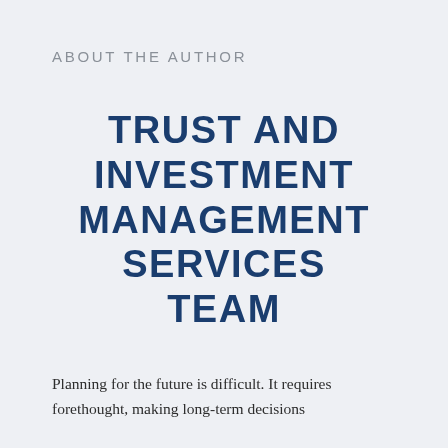ABOUT THE AUTHOR
TRUST AND INVESTMENT MANAGEMENT SERVICES TEAM
Planning for the future is difficult. It requires forethought, making long-term decisions